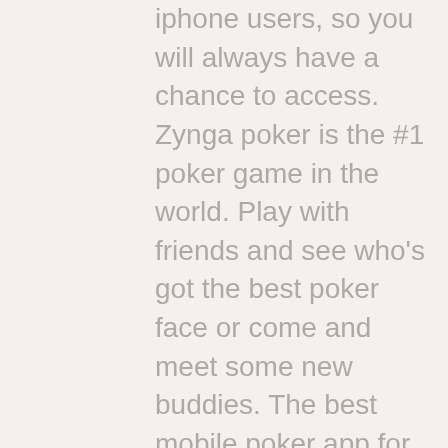iphone users, so you will always have a chance to access. Zynga poker is the #1 poker game in the world. Play with friends and see who's got the best poker face or come and meet some new buddies. The best mobile poker app for real money in canada is 888 poker with its easy to use android and iphone apps. It is the best texas holdem app because of. In this way, you'll allow your device to run the best free poker app for iphone, and in the future, you can install other programs of the. Dto · snapshove · upswing poker · poker cruncher · run it once · larry david plays cards: a look at the poker scenes of. The best online poker websites provide you with the opportunity to enjoy these games through the best poker apps – both for ios and android,. Texas hold em app store. It's been a year of big software-related surprises in the appleverse, and today we've got another.